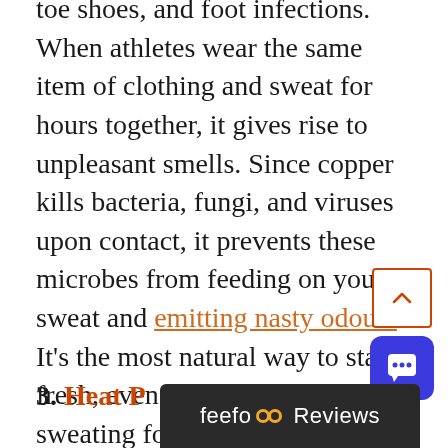hygiene, the regularity of washing closed-toe shoes, and foot infections. When athletes wear the same item of clothing and sweat for hours together, it gives rise to unpleasant smells. Since copper kills bacteria, fungi, and viruses upon contact, it prevents these microbes from feeding on your sweat and emitting nasty odours. It's the most natural way to stay fresh, even if you've been sweating for hours! Copper is essentially self-sterilizing and so, even if copper compression socks or boxer shorts or gloves are washed less often, they will still efficiently keep unpleasant odour under control.
3. Heat P